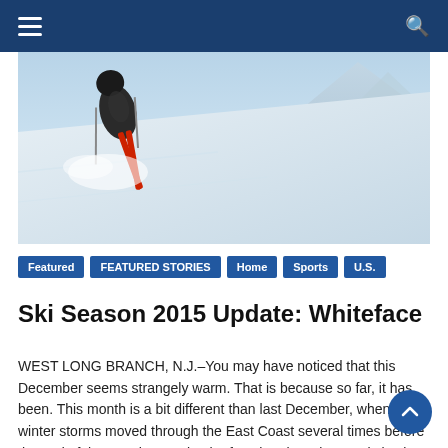Navigation bar with hamburger menu and search icon
[Figure (photo): A skier on a steep snowy slope with mountains in the background, skis visible, bright winter scene]
Featured
FEATURED STORIES
Home
Sports
U.S.
Ski Season 2015 Update: Whiteface
WEST LONG BRANCH, N.J.–You may have noticed that this December seems strangely warm. That is because so far, it has been. This month is a bit different than last December, when winter storms moved through the East Coast several times before the end of the month. Despite the fact that the Winter Solstice is not [...]